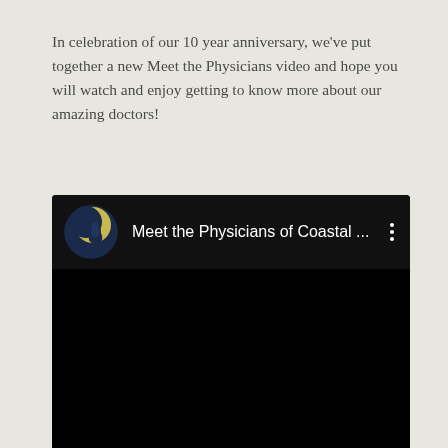In celebration of our 10 year anniversary, we've put together a new Meet the Physicians video and hope you will watch and enjoy getting to know more about our amazing doctors!
[Figure (screenshot): Embedded video player (YouTube-style) with black background showing title 'Meet the Physicians of Coastal …' with a circular channel logo on the left and a vertical three-dot menu icon on the right.]